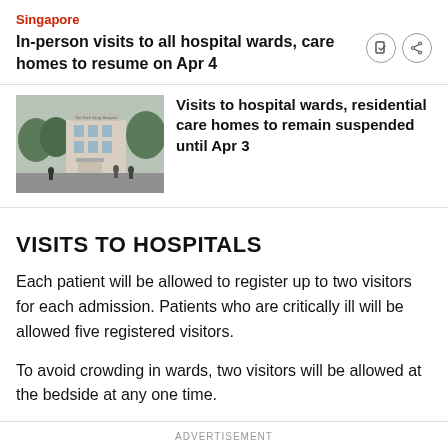Singapore
In-person visits to all hospital wards, care homes to resume on Apr 4
[Figure (photo): Exterior photo of a hospital building with people walking near the entrance]
Visits to hospital wards, residential care homes to remain suspended until Apr 3
VISITS TO HOSPITALS
Each patient will be allowed to register up to two visitors for each admission. Patients who are critically ill will be allowed five registered visitors.
To avoid crowding in wards, two visitors will be allowed at the bedside at any one time.
ADVERTISEMENT